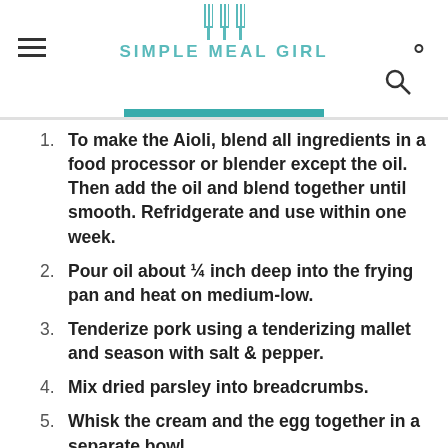SIMPLE MEAL GIRL
To make the Aioli, blend all ingredients in a food processor or blender except the oil. Then add the oil and blend together until smooth. Refridgerate and use within one week.
Pour oil about ¼ inch deep into the frying pan and heat on medium-low.
Tenderize pork using a tenderizing mallet and season with salt & pepper.
Mix dried parsley into breadcrumbs.
Whisk the cream and the egg together in a separate bowl.
Dip pork in the egg, then coat in flour